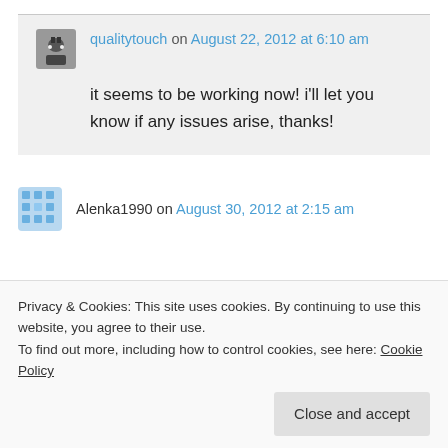qualitytouch on August 22, 2012 at 6:10 am

it seems to be working now! i'll let you know if any issues arise, thanks!
Alenka1990 on August 30, 2012 at 2:15 am
Privacy & Cookies: This site uses cookies. By continuing to use this website, you agree to their use.
To find out more, including how to control cookies, see here: Cookie Policy

Close and accept